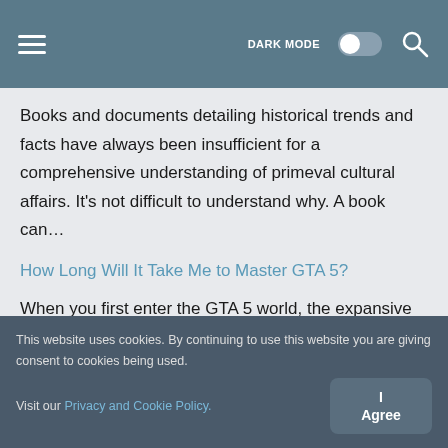DARK MODE [toggle] [search]
Books and documents detailing historical trends and facts have always been insufficient for a comprehensive understanding of primeval cultural affairs. It's not difficult to understand why. A book can…
How Long Will It Take Me to Master GTA 5?
When you first enter the GTA 5 world, the expansive Los Santos map and the wide range of challenging tasks you must complete can seem overwhelming. However, having some…
This website uses cookies. By continuing to use this website you are giving consent to cookies being used. Visit our Privacy and Cookie Policy.